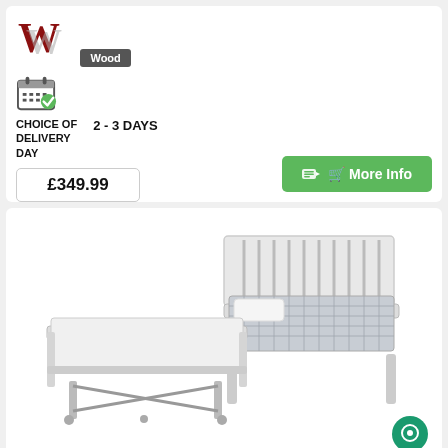[Figure (logo): Stylized W logo in dark red and grey with 'Wood' badge below]
[Figure (illustration): Calendar icon with green checkmark]
CHOICE OF DELIVERY DAY   2 - 3 DAYS
£349.99
More Info
[Figure (photo): White wooden guest bed / pull-out trundle bed shown separated into two single beds, with mattresses]